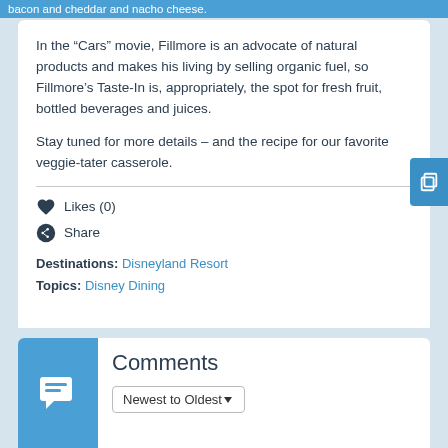bacon and cheddar and nacho cheese.
In the “Cars” movie, Fillmore is an advocate of natural products and makes his living by selling organic fuel, so Fillmore’s Taste-In is, appropriately, the spot for fresh fruit, bottled beverages and juices.
Stay tuned for more details – and the recipe for our favorite veggie-tater casserole.
Likes (0)
Share
Destinations: Disneyland Resort
Topics: Disney Dining
Comments